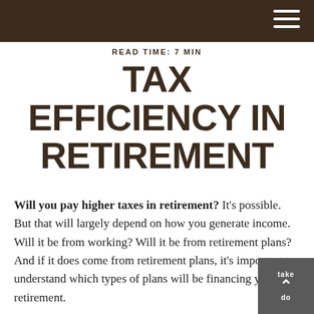READ TIME: 7 MIN
TAX EFFICIENCY IN RETIREMENT
Will you pay higher taxes in retirement? It's possible. But that will largely depend on how you generate income. Will it be from working? Will it be from retirement plans? And if it does come from retirement plans, it's important to understand which types of plans will be financing your retirement.
Another factor to consider is the role Social Security will play in your retirement. When do you plan to start to take Social Security benefits? If you have a spouse, when do they plan on taking benefits? It's critical to answer key